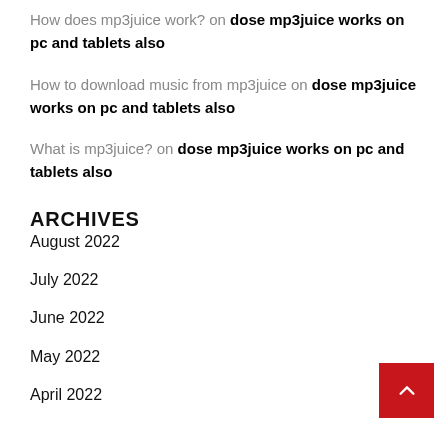How does mp3juice work? on dose mp3juice works on pc and tablets also
How to download music from mp3juice on dose mp3juice works on pc and tablets also
What is mp3juice? on dose mp3juice works on pc and tablets also
ARCHIVES
August 2022
July 2022
June 2022
May 2022
April 2022